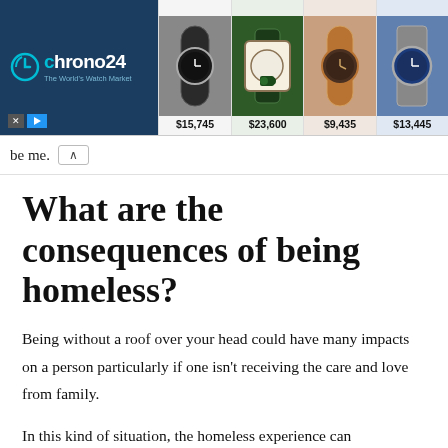[Figure (screenshot): Chrono24 advertisement banner showing luxury watches with prices: $15,745, $23,600, $9,435, $13,445]
be me.
What are the consequences of being homeless?
Being without a roof over your head could have many impacts on a person particularly if one isn't receiving the care and love from family.
In this kind of situation, the homeless experience can